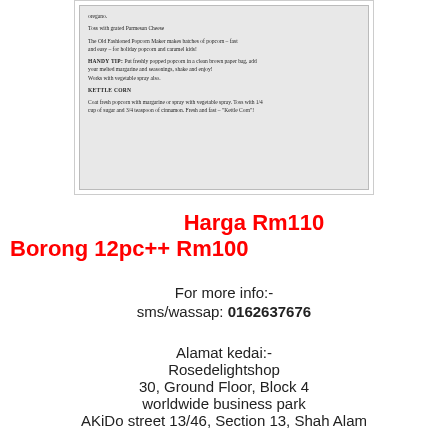[Figure (photo): Scanned/photographed recipe page showing text about Old Fashioned Popcorn Maker, HANDY TIP about putting freshly popped popcorn in a brown paper bag, and KETTLE CORN recipe section.]
Harga Rm110
Borong 12pc++ Rm100
For more info:- sms/wassap: 0162637676
Alamat kedai:- Rosedelightshop 30, Ground Floor, Block 4 worldwide business park AKiDo street 13/46, Section 13, Shah Alam